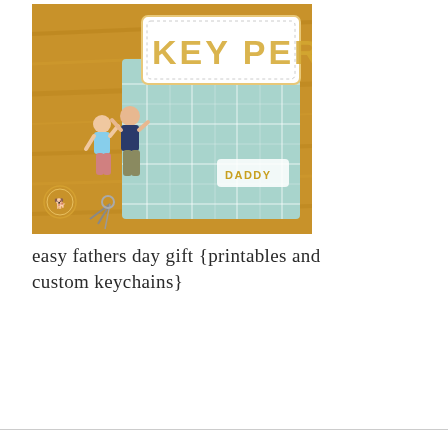[Figure (photo): A photograph of a Father's Day craft project showing a light teal plaid card/envelope with a white tag reading 'KEY PER' (KEEPER) in gold letters, and a small paper cutout of people (children and a dad) on a keychain. The card says 'DADDY' in gold letters. The items are displayed on a wooden table surface. A small circular logo/watermark is visible in the lower left of the photo.]
easy fathers day gift {printables and custom keychains}